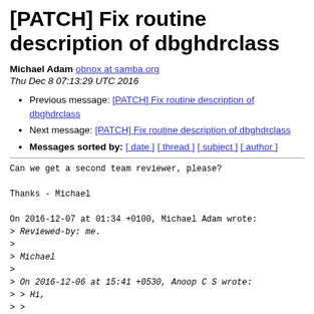[PATCH] Fix routine description of dbghdrclass
Michael Adam obnox at samba.org
Thu Dec 8 07:13:29 UTC 2016
Previous message: [PATCH] Fix routine description of dbghdrclass
Next message: [PATCH] Fix routine description of dbghdrclass
Messages sorted by: [ date ] [ thread ] [ subject ] [ author ]
Can we get a second team reviewer, please?

Thanks - Michael

On 2016-12-07 at 01:34 +0100, Michael Adam wrote:
> Reviewed-by: me.
>
> Michael
>
> On 2016-12-06 at 15:41 +0530, Anoop C S wrote:
> > Hi,
> >